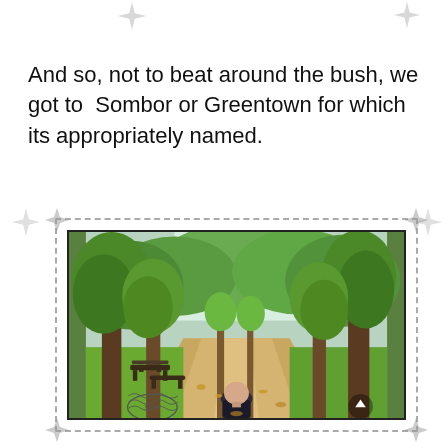And so, not to beat around the bush, we got to  Sombor or Greentown for which its appropriately named.
[Figure (photo): A park scene with tall green trees lining a pathway, benches on the left, fallen leaves on the ground, and a bald person seen from behind walking into the scene. The photo is framed with a dashed postage-stamp style border with decorative spike/star corner marks.]